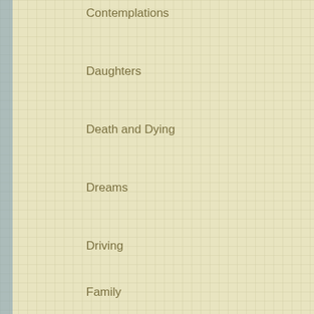Contemplations
Daughters
Death and Dying
Dreams
Driving
Family
Fathers
Fears and Worries
Food
Friendship
Grandmother
Gratitude
Growing up